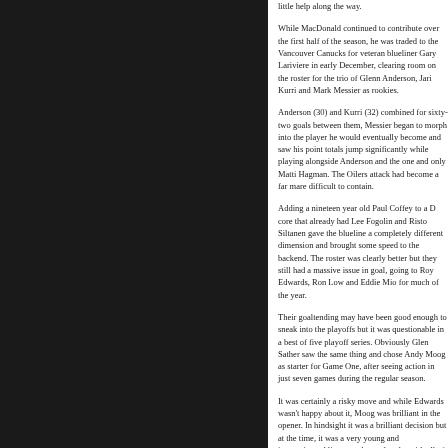little help along the way.
While MacDonald continued to contribute over the first half of the season, he was traded to the Vancouver Canucks for veteran blueliner Gary Lariviere in early December, clearing room on the roster for the trio of Glenn Anderson, Jari Kurri and Mark Messier as rookies.
Anderson (30) and Kurri (32) combined for sixty-two goals between them, Messier began to morph into the player he would eventually become and saw his point totals jump significantly while playing alongside Anderson and the one and only Matti Hagman. The Oilers attack had become a far mare difficult to contain.
Adding a nineteen year old Paul Coffey to a D core that already had Lee Fogolin and Risto Siltanen gave the blueline a completely different dimension and brought some speed to the backend. The roster was clearly better but they still had a massive issue in goal, going to Roy Edwards, Ron Low and Eddie Mio for much of the year.
Their goaltending may have been good enough to sneak into the playoffs but it was questionable in a best of five playoff series. Obviously Glen Sather saw the same thing and chose Andy Moog as starter for Game One, after seeing action in just seven games during the regular season.
It was certainly a risky move and while Edwards wasn't happy about it, Moog was brilliant in the opener. In hindsight it was a brilliant decision but at the time, it was a very young and inexperienced lineup and a goaltender with all of seven NHL appearances that had many scratching heads.
It was obvious the Canadiens didn't see them as much of an opponent, adding a little more fuel to the fire by suggesting Lafleur would "put Gretzky in his back pocket". That comment would comeback to haunt both him and his teammates, as the
Gretzky wasted little time in making his mark in the series opener, as Edmonton won 6-3 on the strength of three assists from #99 and a pair of goals from the Mark Messier. But the story of the night belonged to Gretzky who finished with fiver assists and in